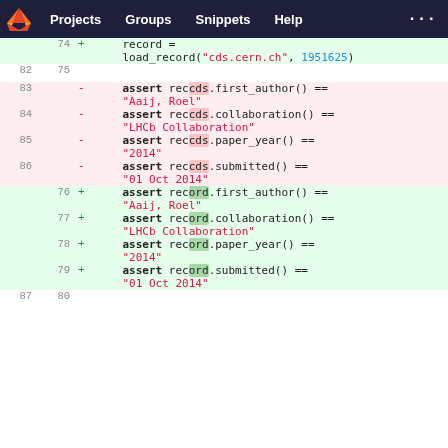[Figure (screenshot): GitLab navigation bar with logo, Projects, Groups, Snippets, Help links on dark navy background]
Code diff view showing git diff with line numbers. Added lines (green): record = load_record("cds.cern.ch", 1951625), assert record.first_author() == "Aaij, Roel", assert record.collaboration() == "LHCb Collaboration", assert record.paper_year() == "2014", assert record.submitted() == "01 Oct 2014". Removed lines (red): assert reccds.first_author() == "Aaij, Roel", assert reccds.collaboration() == "LHCb Collaboration", assert reccds.paper_year() == "2014", assert reccds.submitted() == "01 Oct 2014"